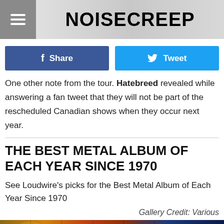NOISECREEP
Share
Tweet
One other note from the tour. Hatebreed revealed while answering a fan tweet that they will not be part of the rescheduled Canadian shows when they occur next year.
THE BEST METAL ALBUM OF EACH YEAR SINCE 1970
See Loudwire's picks for the Best Metal Album of Each Year Since 1970
Gallery Credit: Various
[Figure (photo): Bottom strip showing colorful fantasy/metal imagery in a horizontal banner]